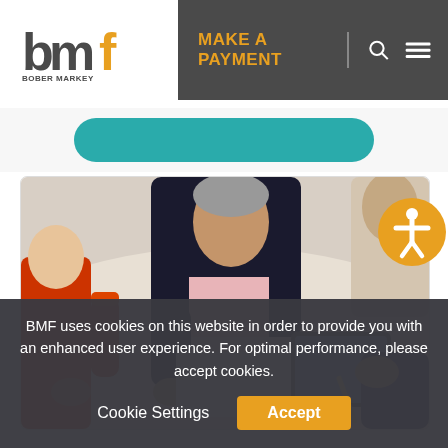BMF BOBER MARKEY FEDOROVICH — MAKE A PAYMENT
[Figure (screenshot): Teal rounded button partially visible below nav bar]
[Figure (photo): Business meeting overhead photo: three people around a table with documents, a tablet, and a red thermos]
BMF uses cookies on this website in order to provide you with an enhanced user experience. For optimal performance, please accept cookies.
Cookie Settings
Accept